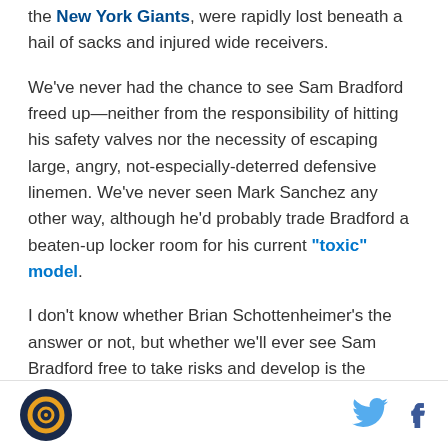the New York Giants, were rapidly lost beneath a hail of sacks and injured wide receivers.
We've never had the chance to see Sam Bradford freed up—neither from the responsibility of hitting his safety valves nor the necessity of escaping large, angry, not-especially-deterred defensive linemen. We've never seen Mark Sanchez any other way, although he'd probably trade Bradford a beaten-up locker room for his current "toxic" model.
I don't know whether Brian Schottenheimer's the answer or not, but whether we'll ever see Sam Bradford free to take risks and develop is the question that should worry Rams fans the most.
[Figure (logo): Circular logo with orange/yellow circular design on dark background]
[Figure (logo): Twitter bird icon in light blue]
[Figure (logo): Facebook 'f' icon in dark blue/navy]